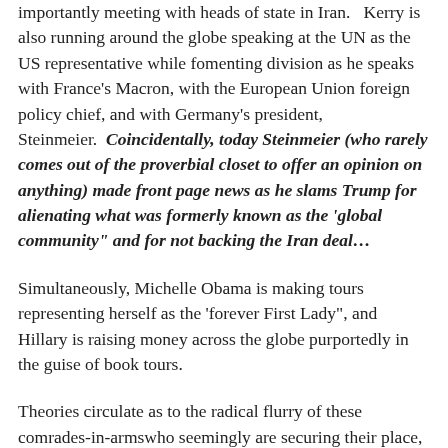importantly meeting with heads of state in Iran.   Kerry is also running around the globe speaking at the UN as the US representative while fomenting division as he speaks with France's Macron, with the European Union foreign policy chief, and with Germany's president, Steinmeier.  Coincidentally, today Steinmeier (who rarely comes out of the proverbial closet to offer an opinion on anything) made front page news as he slams Trump for alienating what was formerly known as the 'global community" and for not backing the Iran deal…
Simultaneously, Michelle Obama is making tours representing herself as the 'forever First Lady", and Hillary is raising money across the globe purportedly in the guise of book tours.
Theories circulate as to the radical flurry of these comrades-in-armswho seemingly are securing their place, their name, their power – as a potential transfer of power underlying the rumbling in the US White House.   Impeachment or coup, they are desperate to